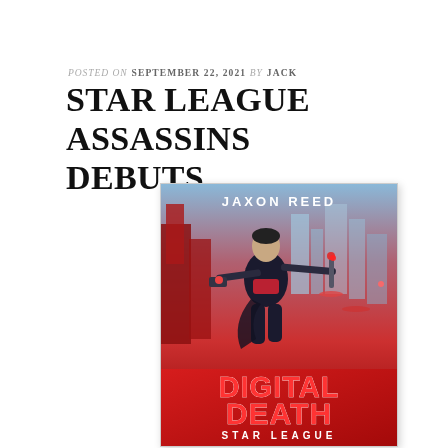POSTED ON SEPTEMBER 22, 2021 BY JACK
STAR LEAGUE ASSASSINS DEBUTS
[Figure (illustration): Book cover for 'Digital Death: Star League' by Jaxon Reed. Features a female warrior in a dark jumpsuit holding weapons against a red and blue sci-fi cityscape background. The title 'Digital Death' appears in large red letters with 'Star League' in white below.]